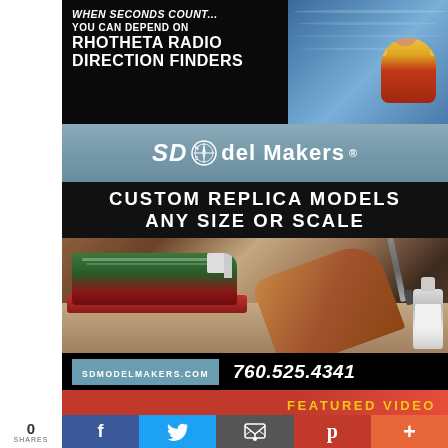[Figure (photo): Advertisement for Rhotheta Radio Direction Finders showing rescue scene with child in water wearing life jacket]
[Figure (logo): SD Model Makers logo on blue-grey banner]
CUSTOM REPLICA MODELS
ANY SIZE OR SCALE
[Figure (photo): Hands painting/crafting a detailed ship model with glue bottle nearby]
SDMODELMAKERS.COM  760.525.4341
FEATURED VIDEO
0
SHARES